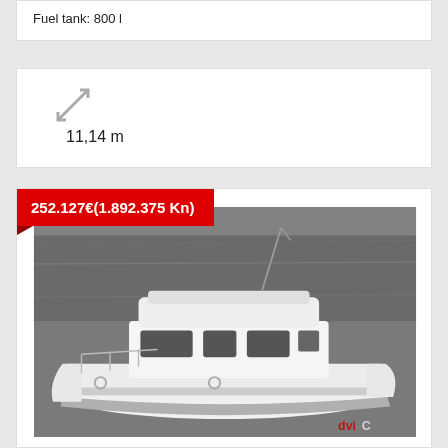Fuel tank: 800 l
11,14 m
252.127€(1.892.375 Kn)
[Figure (photo): Black and white photograph of a white motor yacht moored near water, with a flybridge/hardtop, seen from port side bow quarter. A red price badge overlay reads 252.127€(1.892.375 Kn).]